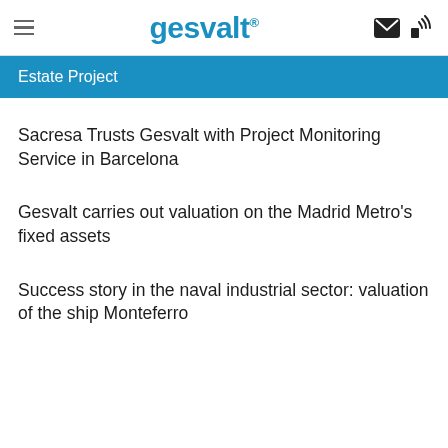gesvalt
Estate Project
Sacresa Trusts Gesvalt with Project Monitoring Service in Barcelona
Gesvalt carries out valuation on the Madrid Metro's fixed assets
Success story in the naval industrial sector: valuation of the ship Monteferro